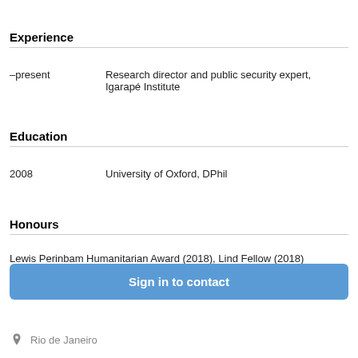Experience
–present	Research director and public security expert, Igarapé Institute
Education
2008	University of Oxford, DPhil
Honours
Lewis Perinbam Humanitarian Award (2018), Lind Fellow (2018)
Sign in to contact
Rio de Janeiro